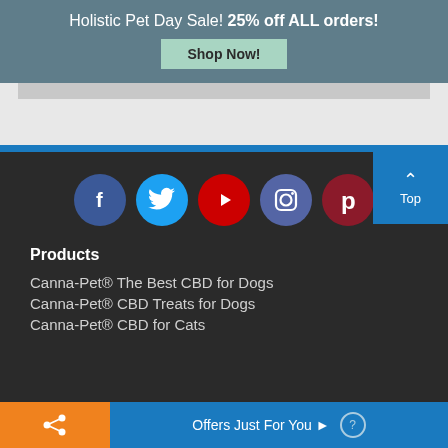Holistic Pet Day Sale! 25% off ALL orders!
Shop Now!
[Figure (screenshot): Gray placeholder/content area, partially visible]
[Figure (infographic): Social media icons row: Facebook (blue circle), Twitter (light blue circle), YouTube (red circle), Instagram (purple circle), Pinterest (dark red circle); with a 'Top' back-to-top button in blue on the right]
Products
Canna-Pet® The Best CBD for Dogs
Canna-Pet® CBD Treats for Dogs
Canna-Pet® CBD for Cats
Offers Just For You ▶